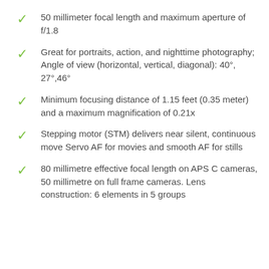50 millimeter focal length and maximum aperture of f/1.8
Great for portraits, action, and nighttime photography; Angle of view (horizontal, vertical, diagonal): 40°, 27°,46°
Minimum focusing distance of 1.15 feet (0.35 meter) and a maximum magnification of 0.21x
Stepping motor (STM) delivers near silent, continuous move Servo AF for movies and smooth AF for stills
80 millimetre effective focal length on APS C cameras, 50 millimetre on full frame cameras. Lens construction: 6 elements in 5 groups